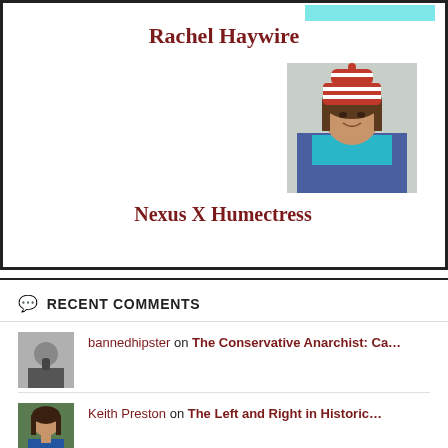Rachel Haywire
[Figure (photo): Portrait photo of a person wearing a red and white striped hat and teal scarf]
Nexus X Humectress
RECENT COMMENTS
bannedhipster on The Conservative Anarchist: Ca…
Keith Preston on The Left and Right in Historic…